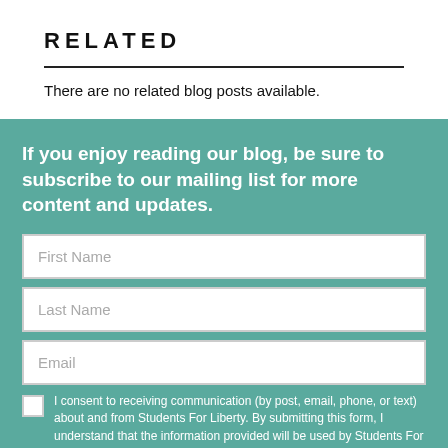RELATED
There are no related blog posts available.
If you enjoy reading our blog, be sure to subscribe to our mailing list for more content and updates.
First Name
Last Name
Email
I consent to receiving communication (by post, email, phone, or text) about and from Students For Liberty. By submitting this form, I understand that the information provided will be used by Students For Liberty in